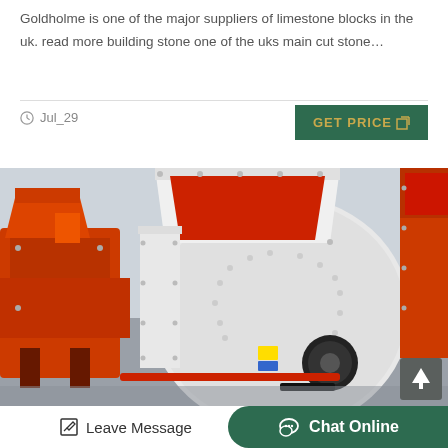Goldholme is one of the major suppliers of limestone blocks in the uk. read more building stone one of the uks main cut stone…
Jul_29
[Figure (photo): Industrial hammer crusher / impact crusher machines in red and white, displayed in a factory or warehouse setting. Multiple large crushing machines visible with belt pulleys and hopper inlets.]
Leave Message
Chat Online